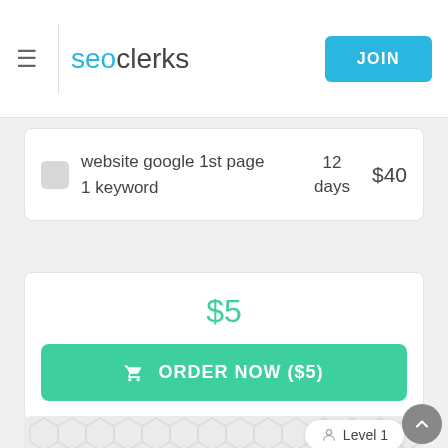seoclerks — JOIN
website google 1st page 1 keyword | 12 days | $40
$5
ORDER NOW ($5)
Level 1